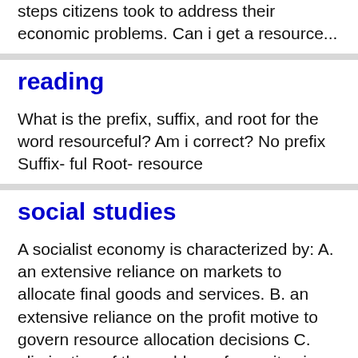steps citizens took to address their economic problems. Can i get a resource...
reading
What is the prefix, suffix, and root for the word resourceful? Am i correct? No prefix Suffix- ful Root- resource
social studies
A socialist economy is characterized by: A. an extensive reliance on markets to allocate final goods and services. B. an extensive reliance on the profit motive to govern resource allocation decisions C. elimination of the problem of scarcity since all...